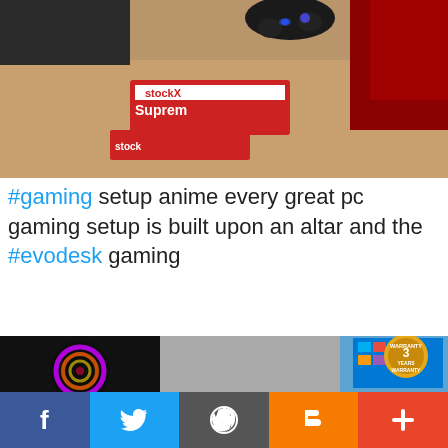[Figure (photo): Gaming desk setup with a PS4 controller, Supreme StockX box on a wooden desk with red gaming chair background]
#gaming setup anime every great pc gaming setup is built upon an altar and the #evodesk gaming
[Figure (photo): Gaming PC tower with RGB fans, Dell monitor showing Windows 10 start menu, and a 3 Years Warranty badge in gold]
f  (Twitter bird)  (WordPress)  (Blogger)  +